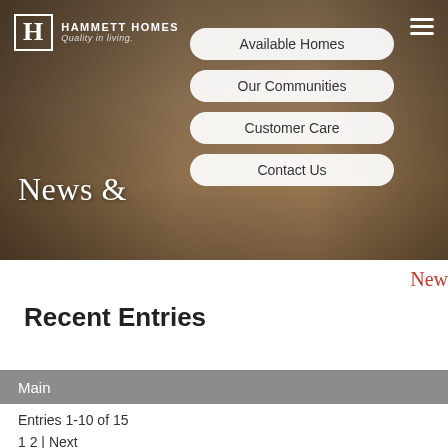[Figure (screenshot): Hammett Homes website screenshot showing hero image of a modern home interior with navigation menu overlaid]
HAMMETT HOMES | Quality in living.
Available Homes
Our Communities
Customer Care
Contact Us
News &
New
Recent Entries
Main
Entries 1-10 of 15
1 2 | Next